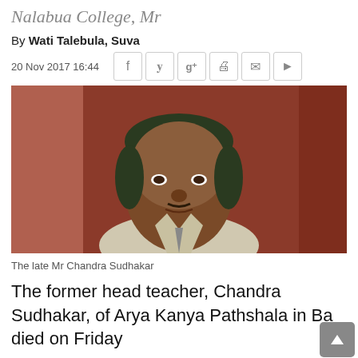Nalabua College, Mr
By Wati Talebula, Suva
20 Nov 2017 16:44
[Figure (photo): Portrait photo of the late Mr Chandra Sudhakar, a middle-aged man in a light-colored shirt, photographed against a reddish-brown background.]
The late Mr Chandra Sudhakar
The former head teacher, Chandra Sudhakar, of Arya Kanya Pathshala in Ba died on Friday